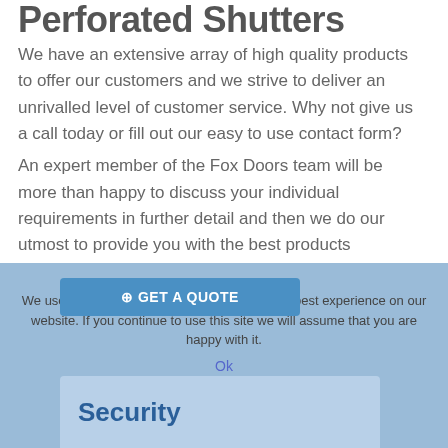Perforated Shutters
We have an extensive array of high quality products to offer our customers and we strive to deliver an unrivalled level of customer service. Why not give us a call today or fill out our easy to use contact form?
An expert member of the Fox Doors team will be more than happy to discuss your individual requirements in further detail and then we do our utmost to provide you with the best products available to cater for all of your needs.
We use cookies to ensure that we give you the best experience on our website. If you continue to use this site we will assume that you are happy with it.
Ok
GET A QUOTE
Security